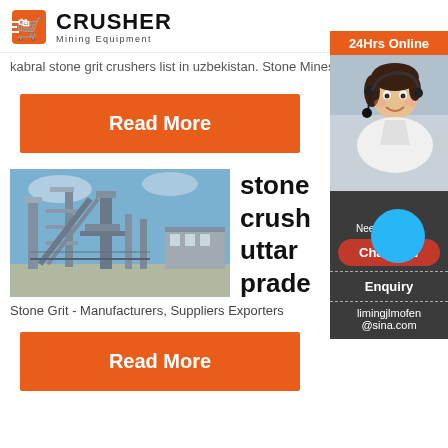CRUSHER Mining Equipment
kabral stone grit crushers list in uzbekistan. Stone Mines At...
Read More
[Figure (photo): Industrial stone crusher facility with steel structure and blue sky]
stone crush uttar prade
Stone Grit - Manufacturers, Suppliers Exporters
Read More
[Figure (photo): Customer service representative with headset and 24Hrs Online chat widget showing Need suggestions, Chat Now, Enquiry, limingjlmofen@sina.com]